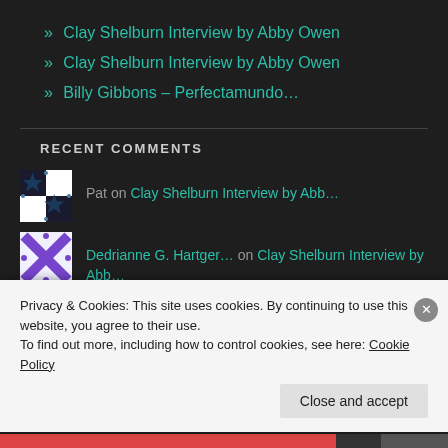» Clay Shelburn Interview by Abby Owen
» Clay Shelburn Interview by Abby Owen
» Billy Gibbons – Perfectamundo…
RECENT COMMENTS
Pat on Clay Shelburn Interview by Abb…
Dedrianne G. Hartger… on Clay Shelburn Interview by Abb…
Privacy & Cookies: This site uses cookies. By continuing to use this website, you agree to their use.
To find out more, including how to control cookies, see here: Cookie Policy